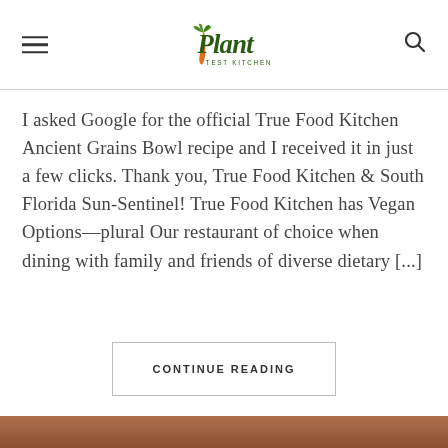Plant Test Kitchen
I asked Google for the official True Food Kitchen Ancient Grains Bowl recipe and I received it in just a few clicks. Thank you, True Food Kitchen & South Florida Sun-Sentinel! True Food Kitchen has Vegan Options—plural Our restaurant of choice when dining with family and friends of diverse dietary [...]
CONTINUE READING
[Figure (photo): Partial bottom strip showing a food photo]